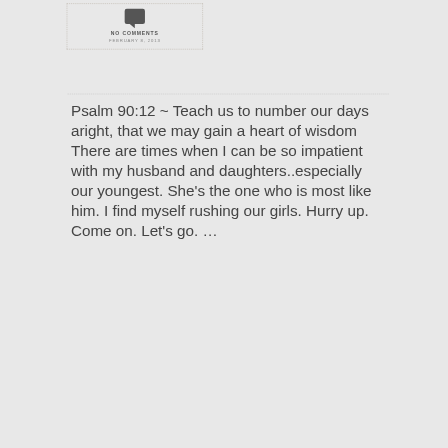[Figure (illustration): Chat bubble / comment icon in dark gray]
NO COMMENTS
FEBRUARY 8, 2013
Psalm 90:12 ~ Teach us to number our days aright, that we may gain a heart of wisdom   There are times when I can be so impatient with my husband and daughters..especially our youngest. She's the one who is most like him. I find myself rushing our girls. Hurry up. Come on. Let's go. …
Continue reading →